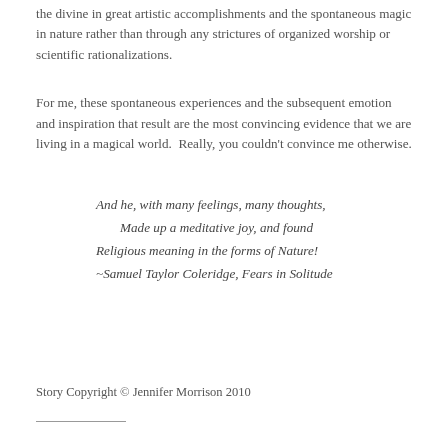the divine in great artistic accomplishments and the spontaneous magic in nature rather than through any strictures of organized worship or scientific rationalizations.
For me, these spontaneous experiences and the subsequent emotion and inspiration that result are the most convincing evidence that we are living in a magical world.  Really, you couldn't convince me otherwise.
And he, with many feelings, many thoughts,
Made up a meditative joy, and found
Religious meaning in the forms of Nature!
~Samuel Taylor Coleridge, Fears in Solitude
Story Copyright © Jennifer Morrison 2010